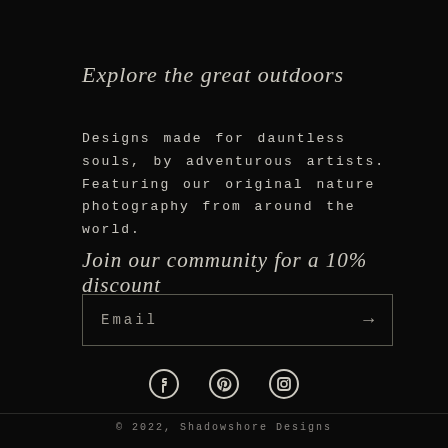Explore the great outdoors
Designs made for dauntless souls, by adventurous artists. Featuring our original nature photography from around the world.
Join our community for a 10% discount
Email →
[Figure (illustration): Social media icons: Facebook, Pinterest, Instagram]
© 2022, Shadowshore Designs